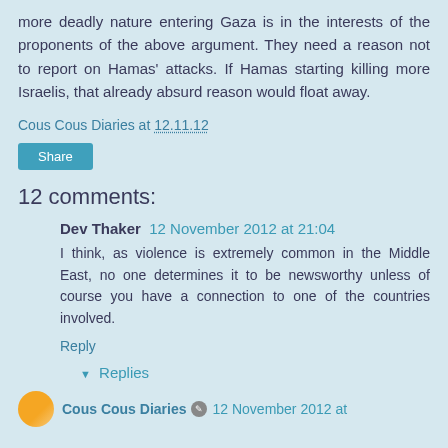more deadly nature entering Gaza is in the interests of the proponents of the above argument. They need a reason not to report on Hamas' attacks. If Hamas starting killing more Israelis, that already absurd reason would float away.
Cous Cous Diaries at 12.11.12
Share
12 comments:
Dev Thaker  12 November 2012 at 21:04
I think, as violence is extremely common in the Middle East, no one determines it to be newsworthy unless of course you have a connection to one of the countries involved.
Reply
▾ Replies
Cous Cous Diaries  12 November 2012 at